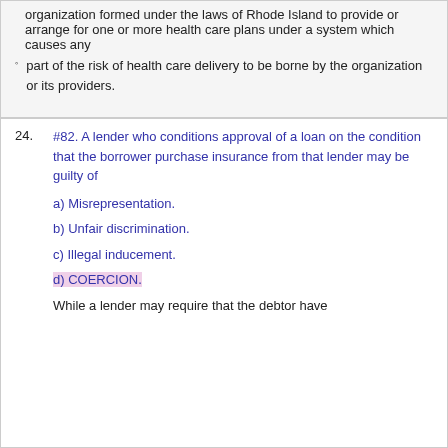organization formed under the laws of Rhode Island to provide or arrange for one or more health care plans under a system which causes any
part of the risk of health care delivery to be borne by the organization or its providers.
#82. A lender who conditions approval of a loan on the condition that the borrower purchase insurance from that lender may be guilty of
a) Misrepresentation.
b) Unfair discrimination.
c) Illegal inducement.
d) COERCION.
While a lender may require that the debtor have insurance as a condition, they may not insist on